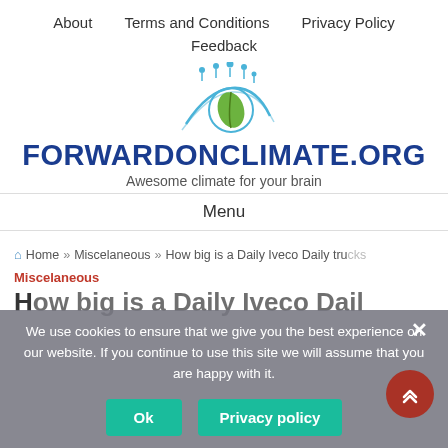About   Terms and Conditions   Privacy Policy
Feedback
[Figure (logo): Circular logo with a green leaf and blue rain drops, arched blue lines below]
FORWARDONCLIMATE.ORG
Awesome climate for your brain
Menu
🏠 Home » Miscelaneous » How big is a Daily Iveco Daily trucks
Miscelaneous
How big is a Daily Iveco Dail…
We use cookies to ensure that we give you the best experience on our website. If you continue to use this site we will assume that you are happy with it.